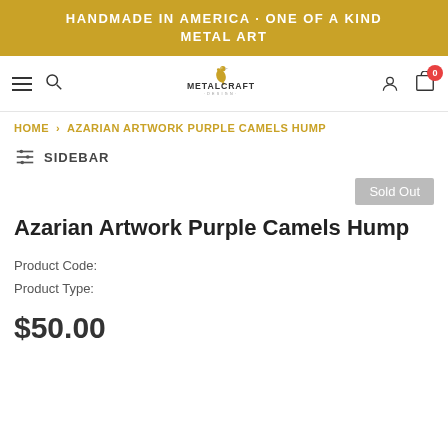HANDMADE IN AMERICA · ONE OF A KIND METAL ART
[Figure (logo): MetalCraft Design logo with bird and stylized text]
HOME > AZARIAN ARTWORK PURPLE CAMELS HUMP
SIDEBAR
Sold Out
Azarian Artwork Purple Camels Hump
Product Code:
Product Type:
$50.00